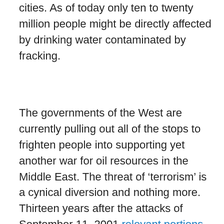cities. As of today only ten to twenty million people might be directly affected by drinking water contaminated by fracking.
The governments of the West are currently pulling out all of the stops to frighten people into supporting yet another war for oil resources in the Middle East. The threat of ‘terrorism’ is a cynical diversion and nothing more. Thirteen years after the attacks of September 11, 2001 relevant portions of the investigation report laying blame on Saudi Arabia for the attacks remain redacted. Terrorism in the Middle East is state sponsored misdirection. True terror is having children that you cannot feed because bankers destroyed the economy. True terror is having fracking companies destroy your farm’s water supply and having no alternate source. True terror is having global warming raise sea levels to bury the island where you and